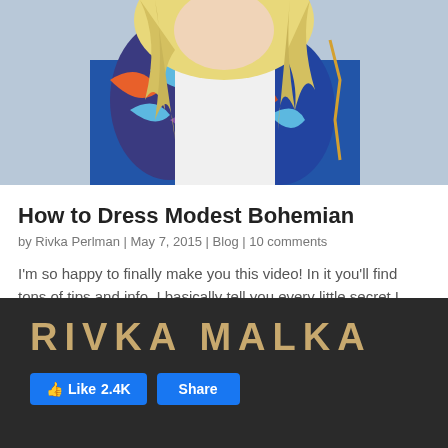[Figure (photo): Cropped photo of a person with blonde hair wearing a colorful bohemian patterned jacket, partially visible from shoulders up]
How to Dress Modest Bohemian
by Rivka Perlman | May 7, 2015 | Blog | 10 comments
I'm so happy to finally make you this video! In it you'll find tons of tips and info. I basically tell you every little secret I have about my clothing.  Oh my gosh, it's like you're coming over to my house! Welcome! I'll be honest...
RIVKA MALKA